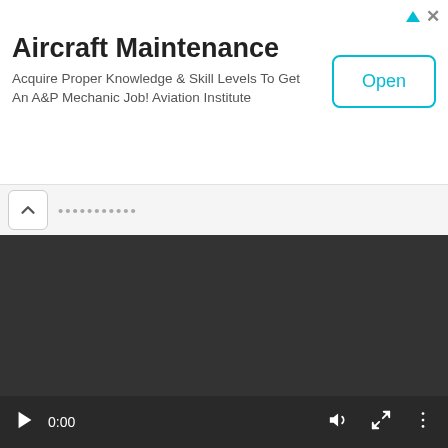Aircraft Maintenance
Acquire Proper Knowledge & Skill Levels To Get An A&P Mechanic Job! Aviation Institute
[Figure (screenshot): A video player showing a dark/black video frame with playback controls at the bottom including play button, time (0:00), volume, fullscreen, and more options icons.]